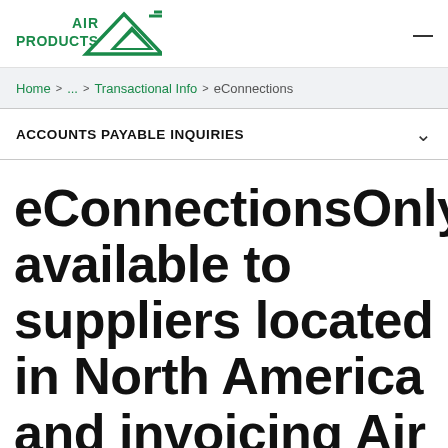[Figure (logo): Air Products logo in green with stylized mountain/triangle graphic]
Home > ... > Transactional Info > eConnections
ACCOUNTS PAYABLE INQUIRIES
eConnectionsOnly available to suppliers located in North America and invoicing Air Products North